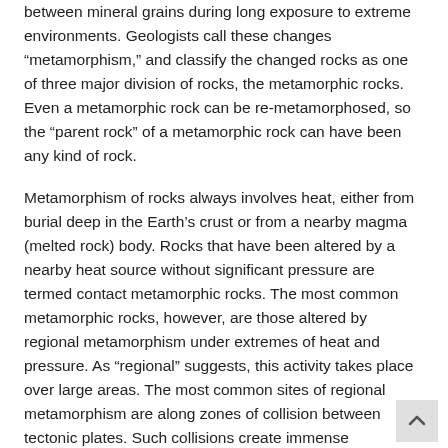between mineral grains during long exposure to extreme environments. Geologists call these changes “metamorphism,” and classify the changed rocks as one of three major division of rocks, the metamorphic rocks. Even a metamorphic rock can be re-metamorphosed, so the “parent rock” of a metamorphic rock can have been any kind of rock.
Metamorphism of rocks always involves heat, either from burial deep in the Earth’s crust or from a nearby magma (melted rock) body. Rocks that have been altered by a nearby heat source without significant pressure are termed contact metamorphic rocks. The most common metamorphic rocks, however, are those altered by regional metamorphism under extremes of heat and pressure. As “regional” suggests, this activity takes place over large areas. The most common sites of regional metamorphism are along zones of collision between tectonic plates. Such collisions create immense compressional forces in rocks buried so deep beneath the surface that they are exposed to the heat of the mantle.
Regional metamorphism involves a combination of pressure and heat...